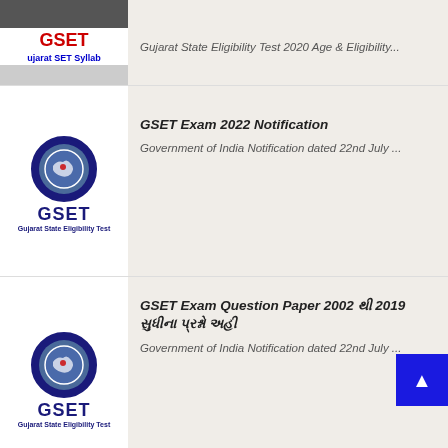[Figure (screenshot): Partial GSET Gujarat SET Syllabus thumbnail with red GSET text]
Gujarat State Eligibility Test 2020 Age & Eligibility...
[Figure (logo): GSET Gujarat State Eligibility Test circular logo with blue border]
GSET Exam 2022 Notification
Government of India Notification dated 22nd July ...
[Figure (logo): GSET Gujarat State Eligibility Test circular logo with blue border]
GSET Exam Question Paper 2002 થી 2019 સુધીના પ્રશ્નો અહી
Government of India Notification dated 22nd July ...
[Figure (photo): Indian army recruitment photo with soldiers and Agneepath text overlay]
indian army Recruitment 2022
After independence, the Ministry of Defence was created...
LABELS
10-12 Exam Time Table